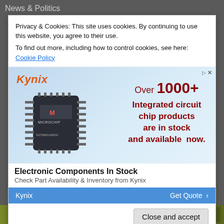News & Politics
Privacy & Cookies: This site uses cookies. By continuing to use this website, you agree to their use.
To find out more, including how to control cookies, see here: Cookie Policy
[Figure (screenshot): Kynix advertisement banner showing a Microchip integrated circuit chip with text: Over 1000+ Integrated circuit chip products are in stock and available now.]
Electronic Components In Stock
Check Part Availability & Inventory from Kynix
Kynix    Get Quote >
Close and accept
[Figure (photo): Bottom strip showing a partial nature/outdoor image]